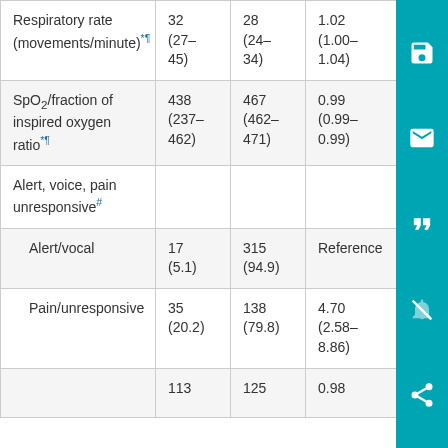| Respiratory rate (movements/minute)*¶ | 32 (27–45) | 28 (24–34) | 1.02 (1.00–1.04) |
| SpO2/fraction of inspired oxygen ratio*¶ | 438 (237–462) | 467 (462–471) | 0.99 (0.99–0.99) |
| Alert, voice, pain unresponsive# |  |  |  |
| Alert/vocal | 17 (5.1) | 315 (94.9) | Reference |
| Pain/unresponsive | 35 (20.2) | 138 (79.8) | 4.70 (2.58–8.86) |
| [partial row] | 113 | 125 | 0.98 |